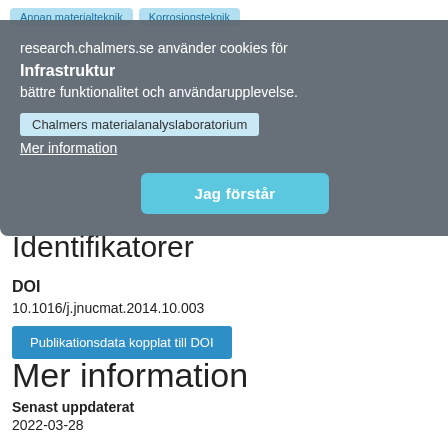Annan materialteknik  Korrosionsteknik
research.chalmers.se använder cookies för bättre funktionalitet och användarupplevelse.
Infrastruktur
Chalmers materialanalyslaboratorium
Mer information
Jag förstår
Identifikatorer
DOI
10.1016/j.jnucmat.2014.10.003
Publikationsdata kopplat till DOI
Mer information
Senast uppdaterat
2022-03-28